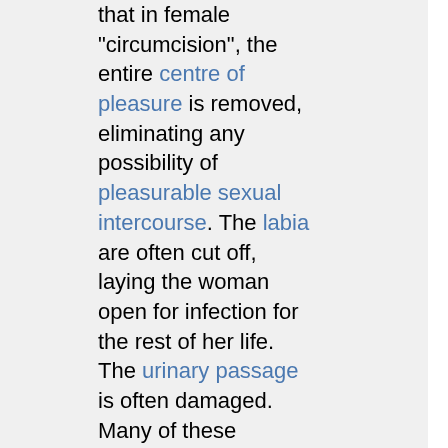that in female "circumcision", the entire centre of pleasure is removed, eliminating any possibility of pleasurable sexual intercourse. The labia are often cut off, laying the woman open for infection for the rest of her life. The urinary passage is often damaged. Many of these women will experience excruciating pain every time they have sex for the rest of their lives - the area is so rich in nerve endings that healing is seldom complete.
While I agree with viterbiSearcher's observation of the callousness with which we treat the genital modification of males in this